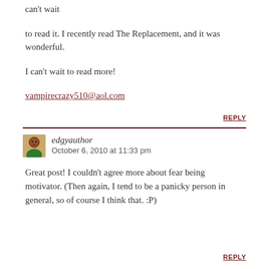can't wait
to read it. I recently read The Replacement, and it was wonderful.
I can't wait to read more!
vampirecrazy510@aol.com
REPLY
edgyauthor
October 6, 2010 at 11:33 pm
Great post! I couldn't agree more about fear being motivator. (Then again, I tend to be a panicky person in general, so of course I think that. :P)
REPLY